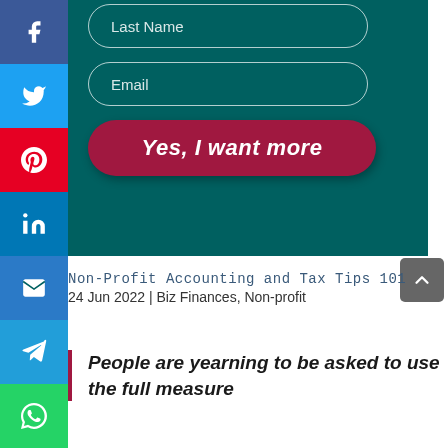[Figure (screenshot): Social media sharing sidebar with icons for Facebook, Twitter, Pinterest, LinkedIn, Email, Telegram, and WhatsApp on colored backgrounds]
[Figure (screenshot): Teal form area with Last Name input field, Email input field, and a dark red 'Yes, I want more' submit button]
Non-Profit Accounting and Tax Tips 101
24 Jun 2022 | Biz Finances, Non-profit
People are yearning to be asked to use the full measure